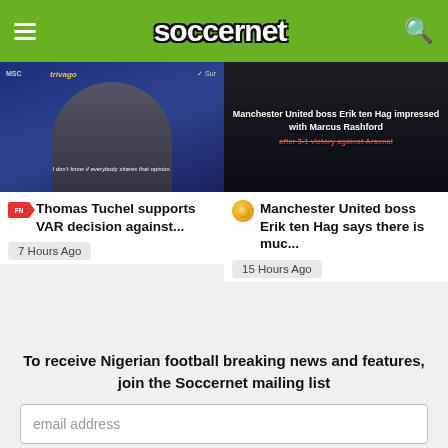soccernet
[Figure (photo): Press conference image with Thomas Tuchel in front of MSC and trivago sponsor boards, with text overlay 'I don't know if everybody shares that opinion.']
Thomas Tuchel supports VAR decision against...
7 Hours Ago
[Figure (photo): Press conference dark image with text overlay: 'Manchester United boss Erik ten Hag impressed with Marcus Rashford' and 'after 3-1 victory against Arsenal']
Manchester United boss Erik ten Hag says there is muc...
15 Hours Ago
To receive Nigerian football breaking news and features, join the Soccernet mailing list